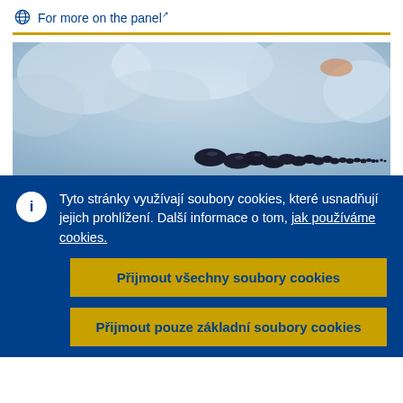For more on the panel
[Figure (photo): Close-up photograph of mussels or dark shellfish on light blue/grey icy background]
Tyto stránky využívají soubory cookies, které usnadňují jejich prohlížení. Další informace o tom, jak používáme cookies.
Přijmout všechny soubory cookies
Přijmout pouze základní soubory cookies